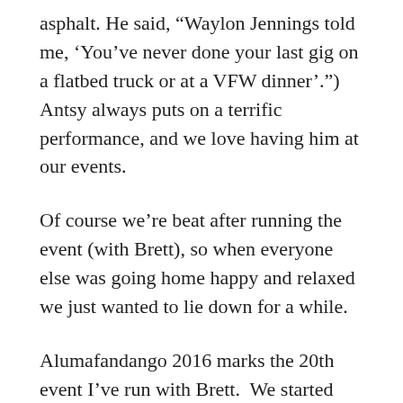asphalt. He said, “Waylon Jennings told me, ‘You’ve never done your last gig on a flatbed truck or at a VFW dinner’.”) Antsy always puts on a terrific performance, and we love having him at our events.
Of course we’re beat after running the event (with Brett), so when everyone else was going home happy and relaxed we just wanted to lie down for a while.
Alumafandango 2016 marks the 20th event I’ve run with Brett.  We started doing this eight years ago with Vintage Trailer Jam 2008, and since then we’ve done two VTJs, seven Paloozas, four Fandangos, three Fiestas, two Flamingos, and two Palm Springs Modernism Week Vintage Trailer Shows. (Plus, I’ve done two Tucson Modernism Week Vintage Trailer Shows by myself.)  It